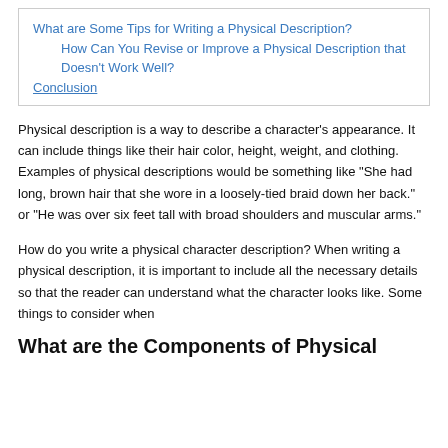What are Some Tips for Writing a Physical Description?
How Can You Revise or Improve a Physical Description that Doesn't Work Well?
Conclusion
Physical description is a way to describe a character's appearance. It can include things like their hair color, height, weight, and clothing. Examples of physical descriptions would be something like “She had long, brown hair that she wore in a loosely-tied braid down her back.” or “He was over six feet tall with broad shoulders and muscular arms.”
How do you write a physical character description? When writing a physical description, it is important to include all the necessary details so that the reader can understand what the character looks like. Some things to consider when
What are the Components of Physical